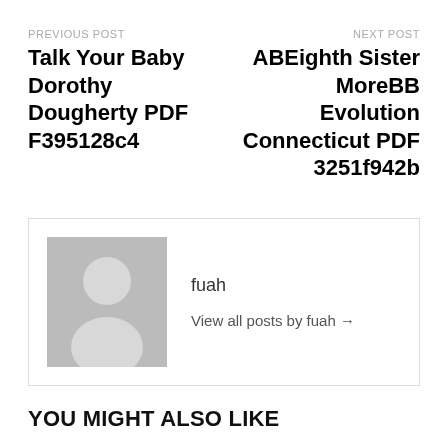PREVIOUS POST
Talk Your Baby Dorothy Dougherty PDF F395128c4
NEXT POST
ABEighth Sister MoreBB Evolution Connecticut PDF 3251f942b
fuah
View all posts by fuah →
YOU MIGHT ALSO LIKE